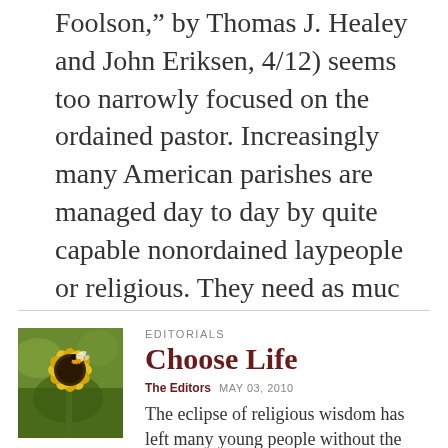Foolson, by Thomas J. Healey and John Eriksen, 4/12) seems too narrowly focused on the ordained pastor. Increasingly many American parishes are managed day to day by quite capable nonordained laypeople or religious. They need as muc
[Figure (photo): Close-up photograph of a yellow flower (black-eyed Susan or similar) with a bee, against a blurred green background]
EDITORIALS
Choose Life
The Editors   MAY 03, 2010
The eclipse of religious wisdom has left many young people without the resources to resist suicide.